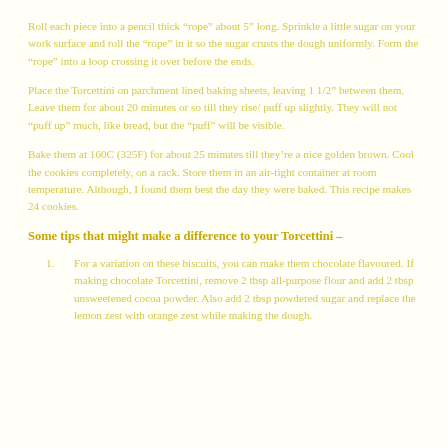Roll each piece into a pencil thick “rope” about 5” long. Sprinkle a little sugar on your work surface and roll the “rope” in it so the sugar crusts the dough uniformly. Form the “rope” into a loop crossing it over before the ends.
Place the Torcettini on parchment lined baking sheets, leaving 1 1/2” between them. Leave them for about 20 minutes or so till they rise/ puff up slightly. They will not “puff up” much, like bread, but the “puff” will be visible.
Bake them at 160C (325F) for about 25 minutes till they’re a nice golden brown. Cool the cookies completely, on a rack. Store them in an air-tight container at room temperature. Although, I found them best the day they were baked. This recipe makes 24 cookies.
Some tips that might make a difference to your Torcettini –
1. For a variation on these biscuits, you can make them chocolate flavoured. If making chocolate Torcettini, remove 2 tbsp all-purpose flour and add 2 tbsp unsweetened cocoa powder. Also add 2 tbsp powdered sugar and replace the lemon zest with orange zest while making the dough.